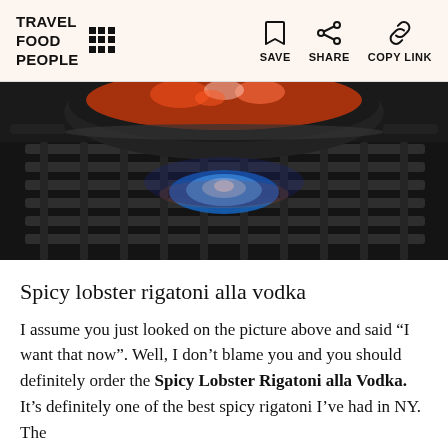TRAVEL FOOD PEOPLE — SAVE | SHARE | COPY LINK
[Figure (photo): A cast iron pan with cooking food sitting on a gas stove burner with a blue flame visible through the metal grate. Dark, dramatic lighting.]
Spicy lobster rigatoni alla vodka
I assume you just looked on the picture above and said “I want that now”. Well, I don’t blame you and you should definitely order the Spicy Lobster Rigatoni alla Vodka. It’s definitely one of the best spicy rigatoni I’ve had in NY. The